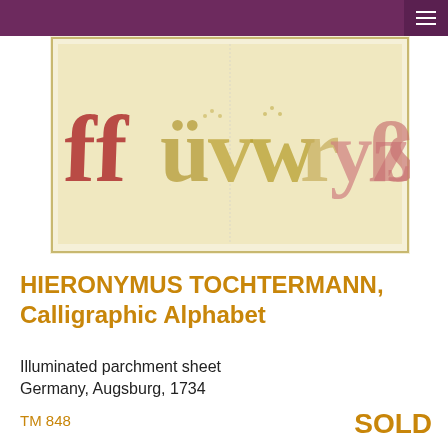[Figure (photo): Illuminated calligraphic manuscript page showing Gothic blackletter alphabet letters on aged parchment, with red and gold decorative letters on a cream/yellowed background, framed with a thin border.]
HIERONYMUS TOCHTERMANN, Calligraphic Alphabet
Illuminated parchment sheet
Germany, Augsburg, 1734
TM 848
SOLD